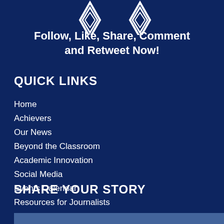[Figure (illustration): Decorative social media icons graphic at the top, white geometric/star shapes on dark blue background]
Follow, Like, Share, Comment and Retweet Now!
QUICK LINKS
Home
Achievers
Our News
Beyond the Classroom
Academic Innovation
Social Media
Events Calendar
Resources for Journalists
SHARE YOUR STORY